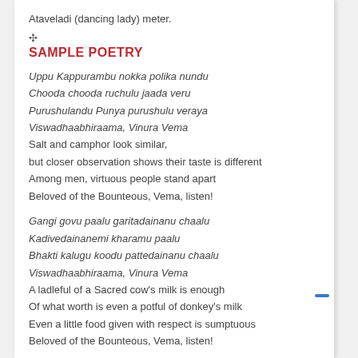Ataveladi (dancing lady) meter.
SAMPLE POETRY
Uppu Kappurambu nokka polika nundu
Chooda chooda ruchulu jaada veru
Purushulandu Punya purushulu veraya
Viswadhaabhiraama, Vinura Vema
Salt and camphor look similar,
but closer observation shows their taste is different
Among men, virtuous people stand apart
Beloved of the Bounteous, Vema, listen!
Gangi govu paalu garitadainanu chaalu
Kadivedainanemi kharamu paalu
Bhakti kalugu koodu pattedainanu chaalu
Viswadhaabhiraama, Vinura Vema
A ladleful of a Sacred cow's milk is enough
Of what worth is even a potful of donkey's milk
Even a little food given with respect is sumptuous
Beloved of the Bounteous, Vema, listen!